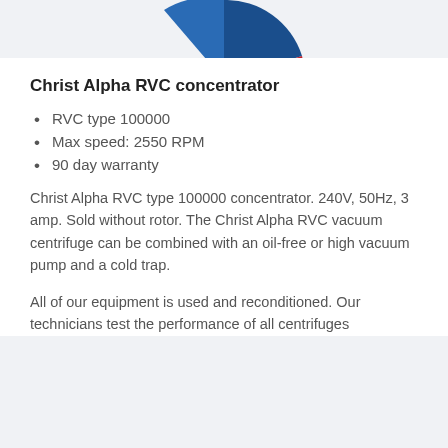[Figure (logo): Partial logo image visible at the top of the page — red and blue circular/pie design, partially cropped]
Christ Alpha RVC concentrator
RVC type 100000
Max speed: 2550 RPM
90 day warranty
Christ Alpha RVC type 100000 concentrator. 240V, 50Hz, 3 amp. Sold without rotor. The Christ Alpha RVC vacuum centrifuge can be combined with an oil-free or high vacuum pump and a cold trap.
All of our equipment is used and reconditioned. Our technicians test the performance of all centrifuges